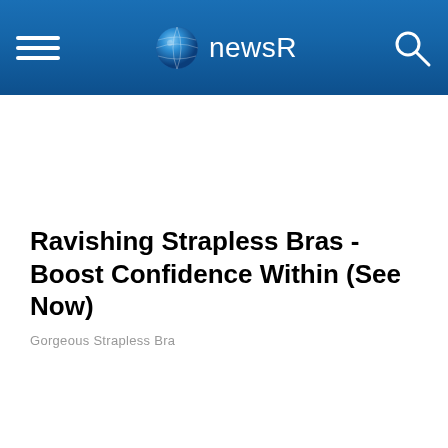newsR
Ravishing Strapless Bras - Boost Confidence Within (See Now)
Gorgeous Strapless Bra